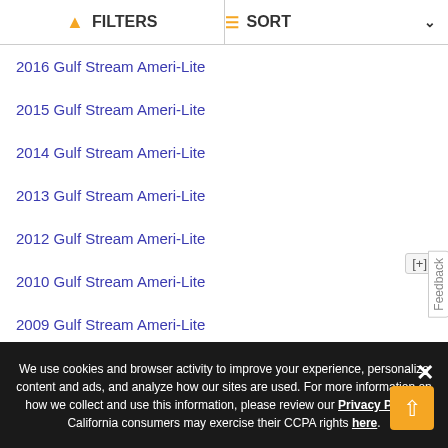FILTERS | SORT
2016 Gulf Stream Ameri-Lite
2015 Gulf Stream Ameri-Lite
2014 Gulf Stream Ameri-Lite
2013 Gulf Stream Ameri-Lite
2012 Gulf Stream Ameri-Lite
2010 Gulf Stream Ameri-Lite
2009 Gulf Stream Ameri-Lite
2008 Gulf Stream Ameri-Lite
We use cookies and browser activity to improve your experience, personalize content and ads, and analyze how our sites are used. For more information on how we collect and use this information, please review our Privacy Policy. California consumers may exercise their CCPA rights here.